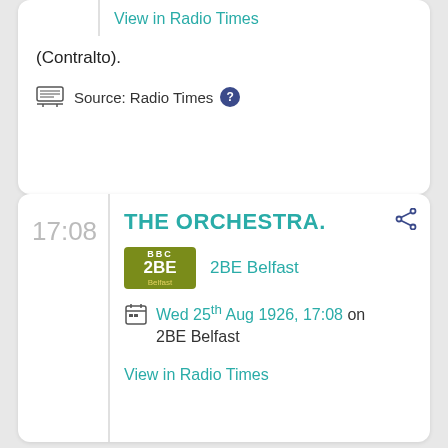View in Radio Times
(Contralto).
Source: Radio Times
17:08
THE ORCHESTRA.
2BE Belfast
Wed 25th Aug 1926, 17:08 on 2BE Belfast
View in Radio Times